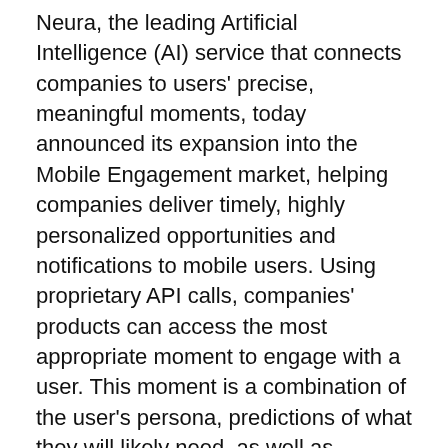Neura, the leading Artificial Intelligence (AI) service that connects companies to users' precise, meaningful moments, today announced its expansion into the Mobile Engagement market, helping companies deliver timely, highly personalized opportunities and notifications to mobile users. Using proprietary API calls, companies' products can access the most appropriate moment to engage with a user. This moment is a combination of the user's persona, predictions of what they will likely need, as well as contextually what is happening with them in near real-time. Neura's technology is currently deployed in the Digital Health and Smart Home markets, resulting in an increase in medication adherence by 88 percent, an increase in user retention by 30 percent, and a surge in user engagement of 51 percent.
Neura's proprietary AI technology begins by quickly